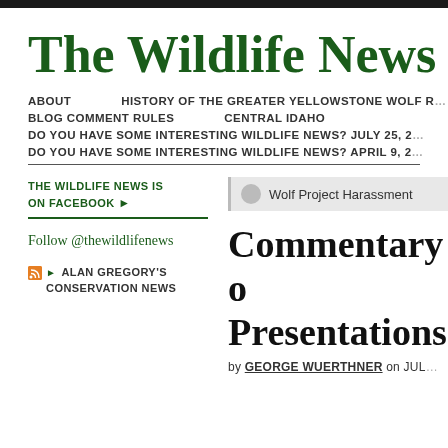The Wildlife News
ABOUT   HISTORY OF THE GREATER YELLOWSTONE WOLF R...   BLOG COMMENT RULES   CENTRAL IDAHO   DO YOU HAVE SOME INTERESTING WILDLIFE NEWS? JULY 25, 2...   DO YOU HAVE SOME INTERESTING WILDLIFE NEWS? APRIL 9, 2...
THE WILDLIFE NEWS IS ON FACEBOOK ▶
Follow @thewildlifenews
ALAN GREGORY'S CONSERVATION NEWS
Wolf Project Harassment
Commentary o... Presentations
by GEORGE WUERTHNER on JUL...